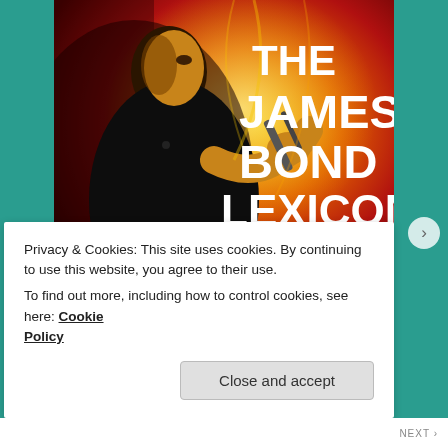[Figure (illustration): Book cover for 'The James Bond Lexicon: The Unofficial Guide to the World of 007 in Movies, Novels, and Comics'. Shows a stylized illustration of a man in a tuxedo with bow tie holding a gun, against a fiery red and yellow background. Large bold white text reads 'THE JAMES BOND LEXICON' with subtitle text below.]
Privacy & Cookies: This site uses cookies. By continuing to use this website, you agree to their use.
To find out more, including how to control cookies, see here: Cookie Policy